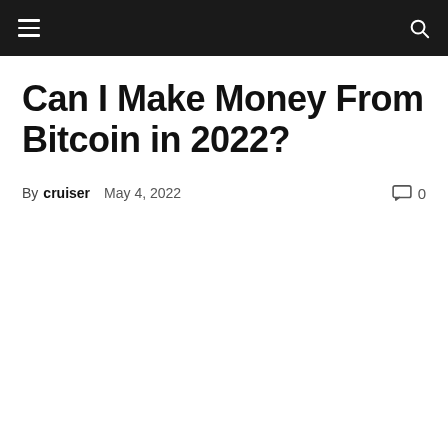Navigation bar with hamburger menu and search icon
Can I Make Money From Bitcoin in 2022?
By cruiser  May 4, 2022  0